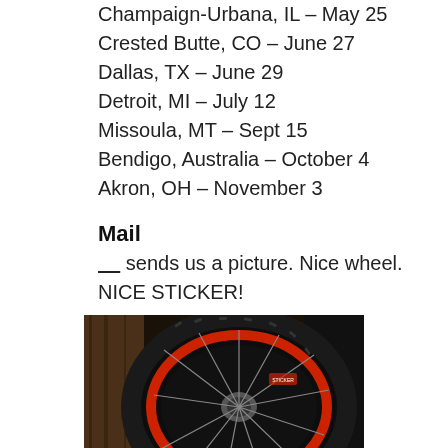Champaign-Urbana, IL – May 25
Crested Butte, CO – June 27
Dallas, TX – June 29
Detroit, MI – July 12
Missoula, MT – Sept 15
Bendigo, Australia – October 4
Akron, OH – November 3
Mail
___ sends us a picture. Nice wheel. NICE STICKER!
[Figure (photo): A bicycle wheel with a red rim and black tire, showing spokes and gear cassette, photographed indoors against a wooden background.]